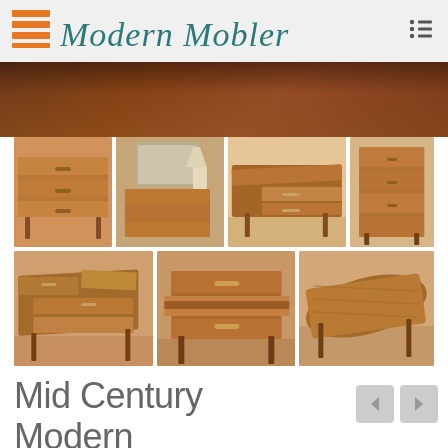Modern Mobler
[Figure (photo): Hero/banner close-up photo of walnut wood dresser surface]
[Figure (photo): Gallery of 7 product photos showing a Mid Century Modern Walnut Long Dresser from various angles — front view, mirror/dresser combo, side open drawers, front open drawers, angled closed, detail drawer open, side angle]
Mid Century Modern Walnut Long Dresser